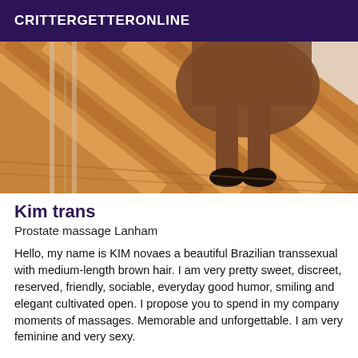CRITTERGETTERONLINE
[Figure (photo): Photo showing legs and feet of a person standing on a wooden floor with diagonal striped light/shadow pattern, wearing dark shoes and a brown skirt or dress, with a white fabric visible at top right.]
Kim trans
Prostate massage Lanham
Hello, my name is KIM novaes a beautiful Brazilian transsexual with medium-length brown hair. I am very pretty sweet, discreet, reserved, friendly, sociable, everyday good humor, smiling and elegant cultivated open. I propose you to spend in my company moments of massages. Memorable and unforgettable. I am very feminine and very sexy.